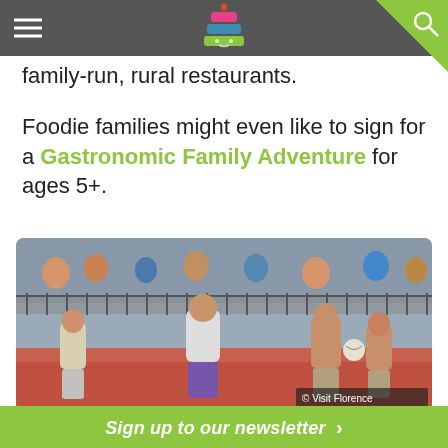Navigation bar with hamburger menu, logo, and search icon
family-run, rural restaurants.
Foodie families might even like to sign for a Gastronomic Family Adventure for ages 5+.
[Figure (photo): Men in historical costume playing Calcio Storico (historical Florentine football), running on a red sand field with spectators in the background. Copyright: Visit Florence.]
Sign up to our newsletter >